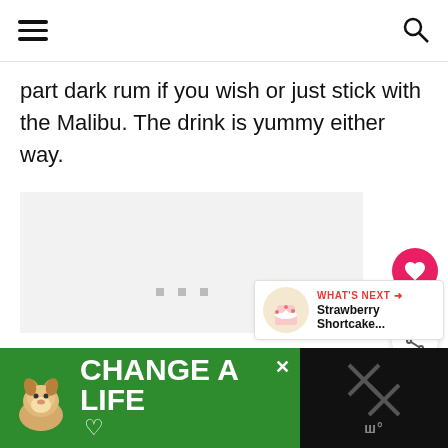Navigation header with hamburger menu and search icon
part dark rum if you wish or just stick with the Malibu. The drink is yummy either way.
[Figure (photo): Large image placeholder area (content loading)]
5.1K
[Figure (infographic): What's Next card with Strawberry Shortcake thumbnail and label]
[Figure (infographic): Advertisement banner: CHANGE A LIFE with dog image on green background]